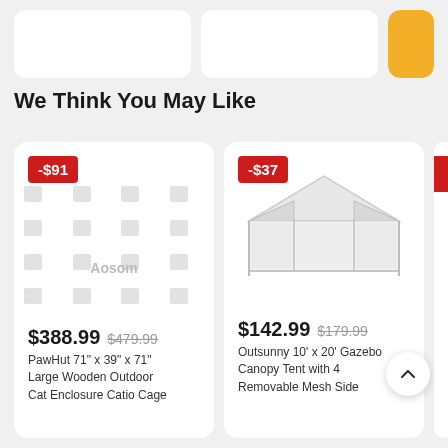[Figure (screenshot): Top portion showing two white card placeholders and a partial third card (orange color visible)]
We Think You May Like
[Figure (screenshot): Product card for PawHut with -$91 discount badge, placeholder icons grid with Aosom brand label, price $388.99 (was $479.99), title: PawHut 71" x 39" x 71" Large Wooden Outdoor Cat Enclosure Catio Cage]
[Figure (screenshot): Product card for Outsunny gazebo with -$37 discount badge, image of white gazebo/canopy tent, price $142.99 (was $179.99), title: Outsunny 10' x 20' Gazebo Canopy Tent with 4 Removable Mesh Side]
[Figure (screenshot): Partial third product card (cut off on right edge)]